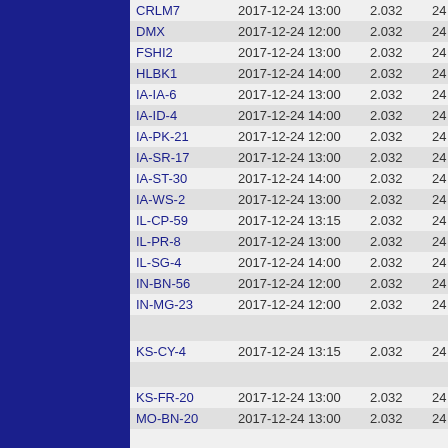| ID | Datetime | Value | Num |
| --- | --- | --- | --- |
| CRLM7 | 2017-12-24 13:00 | 2.032 | 24 |
| DMX | 2017-12-24 12:00 | 2.032 | 24 |
| FSHI2 | 2017-12-24 13:00 | 2.032 | 24 |
| HLBK1 | 2017-12-24 14:00 | 2.032 | 24 |
| IA-IA-6 | 2017-12-24 13:00 | 2.032 | 24 |
| IA-ID-4 | 2017-12-24 14:00 | 2.032 | 24 |
| IA-PK-21 | 2017-12-24 12:00 | 2.032 | 24 |
| IA-SR-17 | 2017-12-24 13:00 | 2.032 | 24 |
| IA-ST-30 | 2017-12-24 14:00 | 2.032 | 24 |
| IA-WS-2 | 2017-12-24 13:00 | 2.032 | 24 |
| IL-CP-59 | 2017-12-24 13:15 | 2.032 | 24 |
| IL-PR-8 | 2017-12-24 13:00 | 2.032 | 24 |
| IL-SG-4 | 2017-12-24 14:00 | 2.032 | 24 |
| IN-BN-56 | 2017-12-24 12:00 | 2.032 | 24 |
| IN-MG-23 | 2017-12-24 12:00 | 2.032 | 24 |
|  |  |  |  |
| KS-CY-4 | 2017-12-24 13:15 | 2.032 | 24 |
|  |  |  |  |
| KS-FR-20 | 2017-12-24 13:00 | 2.032 | 24 |
| MO-BN-20 | 2017-12-24 13:00 | 2.032 | 24 |
|  |  |  |  |
| MO-CM-21 | 2017-12-24 13:00 | 2.032 | 24 |
|  |  |  |  |
| MO-CY-11 | 2017-12-24 13:00 | 2.032 | 24 |
|  |  |  |  |
| SNYI4 | 2017-12-24 15:00 | 2.032 | 24 |
| VLYK1 | 2017-12-24 13:00 | 2.032 | 24 |
| WAMK1 | 2017-12-24 13:00 | 2.032 | 24 |
| WKFK1 | 2017-12-24 13:15 | 2.032 | 24 |